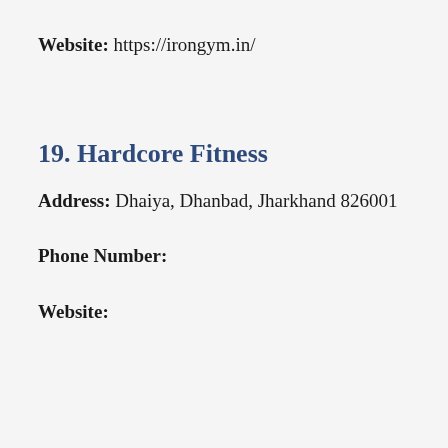Website: https://irongym.in/
19. Hardcore Fitness
Address: Dhaiya, Dhanbad, Jharkhand 826001
Phone Number:
Website: